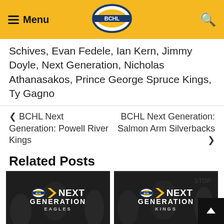Menu | BCHL Logo | Search
Schives, Evan Fedele, Ian Kern, Jimmy Doyle, Next Generation, Nicholas Athanasakos, Prince George Spruce Kings, Ty Gagno
< BCHL Next Generation: Powell River Kings   BCHL Next Generation: Salmon Arm Silverbacks >
Related Posts
[Figure (photo): BCHL Next Generation Eagles promo image with dark hockey background]
BCHL Next Generation: Surrey Eagles
[Figure (photo): BCHL Next Generation Kings promo image with dark hockey background]
BCHL Next Generation: Powell River Kings